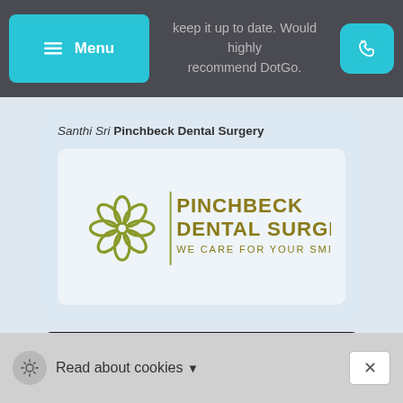Menu | keep it up to date. Would highly recommend DotGo.
Santhi Sri Pinchbeck Dental Surgery
[Figure (logo): Pinchbeck Dental Surgery logo — circular flower/tooth emblem in olive green with text 'PINCHBECK DENTAL SURGERY WE CARE FOR YOUR SMILE' in gold/olive]
[Figure (infographic): Trustpilot 5 star review badge — dark navy background with 5 green star boxes and text '5 star review' in white]
Fantastic team! From my first...
Read about cookies ▾  ✕